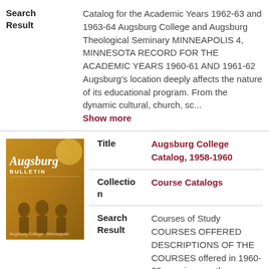Search Result
Catalog for the Academic Years 1962-63 and 1963-64 Augsburg College and Augsburg Theological Seminary MINNEAPOLIS 4, MINNESOTA RECORD FOR THE ACADEMIC YEARS 1960-61 AND 1961-62 Augsburg's location deeply affects the nature of its educational program. From the dynamic cultural, church, sc... Show more
[Figure (photo): Thumbnail cover of Augsburg Bulletin showing stylized figures and text]
Title
Augsburg College Catalog, 1958-1960
Collection
Course Catalogs
Search Result
Courses of Study COURSES OFFERED DESCRIPTIONS OF THE COURSES offered in 1960-62 are given on the following pages.